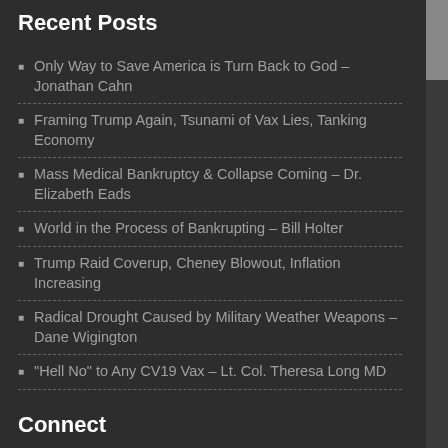Recent Posts
Only Way to Save America is Turn Back to God – Jonathan Cahn
Framing Trump Again, Tsunami of Vax Lies, Tanking Economy
Mass Medical Bankruptcy & Collapse Coming – Dr. Elizabeth Eads
World in the Process of Bankrupting – Bill Holter
Trump Raid Coverup, Cheney Blowout, Inflation Increasing
Radical Drought Caused by Military Weather Weapons – Dane Wigington
"Hell No" to Any CV19 Vax – Lt. Col. Theresa Long MD
Connect